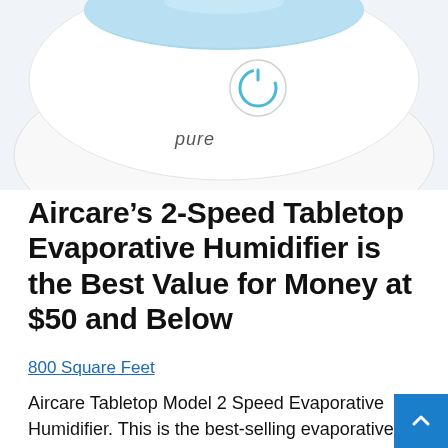[Figure (photo): Close-up photo of a white Pure Enrichment brand humidifier with a blue power button on top, shot from above at an angle. The device is white and rounded with a blue circular power icon and the 'pure' brand name visible.]
Aircare’s 2-Speed Tabletop Evaporative Humidifier is the Best Value for Money at $50 and Below
800 Square Feet
Aircare Tabletop Model 2 Speed Evaporative Humidifier. This is the best-selling evaporative humidifier. Although 1.2 gallon water tank may be smaller than some of the